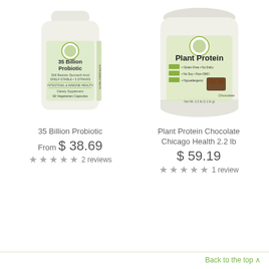[Figure (photo): White supplement bottle labeled '35 Billion Probiotic', 60 Vegetarian Capsules]
35 Billion Probiotic
From $ 38.69
★★★★★ 2 reviews
[Figure (photo): Large white container labeled 'Plant Protein' Chocolate, Chicago Health 2.2 lb, Gluten Free, No Dairy, No Soy, Non-GMO, Hypoallergenic]
Plant Protein Chocolate Chicago Health 2.2 lb
$ 59.19
★★★★★ 1 review
Back to the top ^